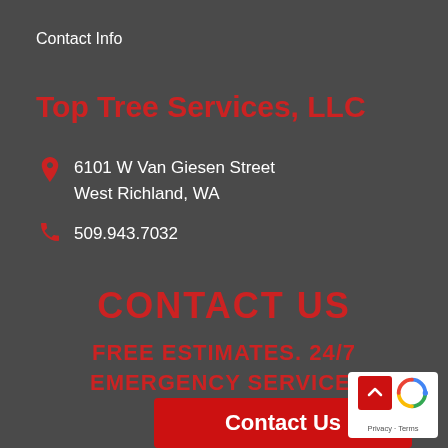Contact Info
Top Tree Services, LLC
6101 W Van Giesen Street
West Richland, WA
509.943.7032
CONTACT US
FREE ESTIMATES. 24/7 EMERGENCY SERVICE.
Contact Us